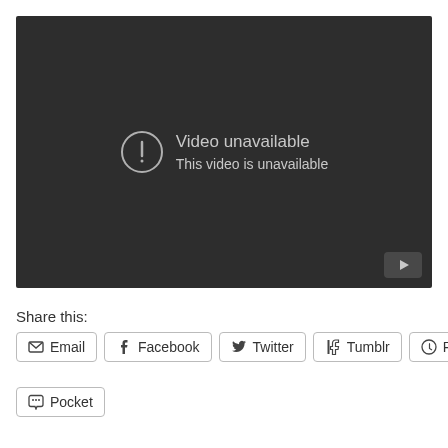[Figure (screenshot): YouTube video player showing 'Video unavailable' error message on a dark background, with a YouTube logo button in the bottom right corner. A circle with exclamation mark icon is shown next to the text 'Video unavailable' and 'This video is unavailable'.]
Share this:
Email
Facebook
Twitter
Tumblr
Pinterest
Pocket